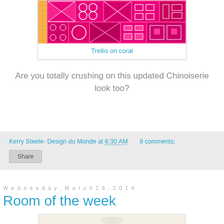[Figure (illustration): Pink/coral trellis pattern fabric sample card with geometric Chinese-inspired motifs]
Trellis on coral
Are you totally crushing on this updated Chinoiserie look too?
Kerry Steele- Design du Monde at 6:30 AM    8 comments:
Share
Wednesday, March 26, 2014
Room of the week
[Figure (photo): Interior room photo showing white walls, ceiling with skylights, and a yellow accent panel]